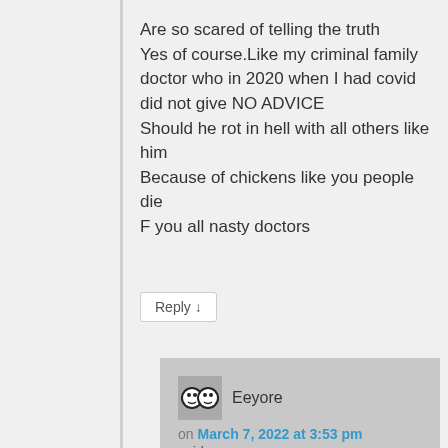Are so scared of telling the truth
Yes of course.Like my criminal family doctor who in 2020 when I had covid did not give NO ADVICE
Should he rot in hell with all others like him
Because of chickens like you people die
F you all nasty doctors
Reply ↓
[Figure (other): User avatar icon showing two cartoon faces]
Eeyore
on March 7, 2022 at 3:53 pm
said: